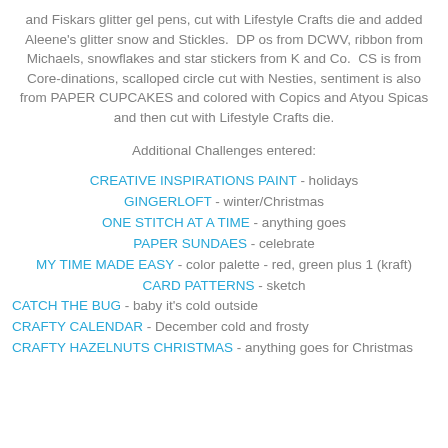and Fiskars glitter gel pens, cut with Lifestyle Crafts die and added Aleene's glitter snow and Stickles. DP os from DCWV, ribbon from Michaels, snowflakes and star stickers from K and Co. CS is from Core-dinations, scalloped circle cut with Nesties, sentiment is also from PAPER CUPCAKES and colored with Copics and Atyou Spicas and then cut with Lifestyle Crafts die.
Additional Challenges entered:
CREATIVE INSPIRATIONS PAINT - holidays
GINGERLOFT - winter/Christmas
ONE STITCH AT A TIME - anything goes
PAPER SUNDAES - celebrate
MY TIME MADE EASY - color palette - red, green plus 1 (kraft)
CARD PATTERNS - sketch
CATCH THE BUG - baby it's cold outside
CRAFTY CALENDAR - December cold and frosty
CRAFTY HAZELNUTS CHRISTMAS - anything goes for Christmas